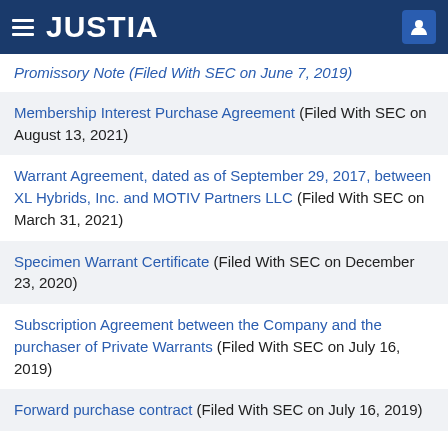JUSTIA
Promissory Note (Filed With SEC on June 7, 2019)
Membership Interest Purchase Agreement (Filed With SEC on August 13, 2021)
Warrant Agreement, dated as of September 29, 2017, between XL Hybrids, Inc. and MOTIV Partners LLC (Filed With SEC on March 31, 2021)
Specimen Warrant Certificate (Filed With SEC on December 23, 2020)
Subscription Agreement between the Company and the purchaser of Private Warrants (Filed With SEC on July 16, 2019)
Forward purchase contract (Filed With SEC on July 16, 2019)